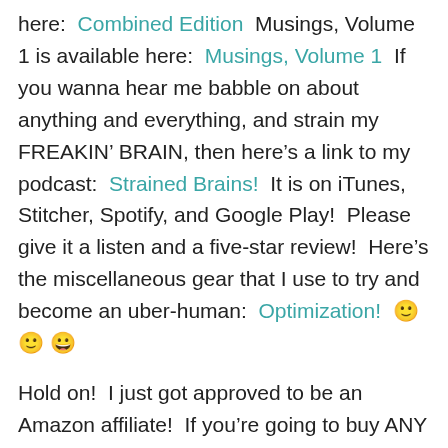here:  Combined Edition  Musings, Volume 1 is available here:  Musings, Volume 1  If you wanna hear me babble on about anything and everything, and strain my FREAKIN' BRAIN, then here's a link to my podcast:  Strained Brains!  It is on iTunes, Stitcher, Spotify, and Google Play!  Please give it a listen and a five-star review!  Here's the miscellaneous gear that I use to try and become an uber-human:  Optimization!  🙂 🙂 😀
Hold on!  I just got approved to be an Amazon affiliate!  If you're going to buy ANY product from Amazon, and you'd like to support my efforts for absolutely free, then simply click on one of the Echo links I've provided—they'll send you to Echo's Amazon page—and THEN buy whatever product you wish.  Amazon gives me a small referral fee each time this happens!  In this manner, you can support...